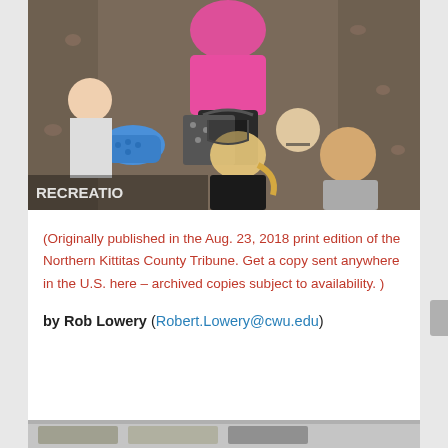[Figure (photo): People rock climbing on an indoor climbing wall. A person in pink top and dark pants is being assisted up the wall by a blonde woman below. Other people watch in the background. Text RECREATION visible in lower left corner.]
(Originally published in the Aug. 23, 2018 print edition of the Northern Kittitas County Tribune. Get a copy sent anywhere in the U.S. here – archived copies subject to availability. )
by Rob Lowery (Robert.Lowery@cwu.edu)
[Figure (photo): Partial view of another photo at the bottom of the page, mostly cropped.]